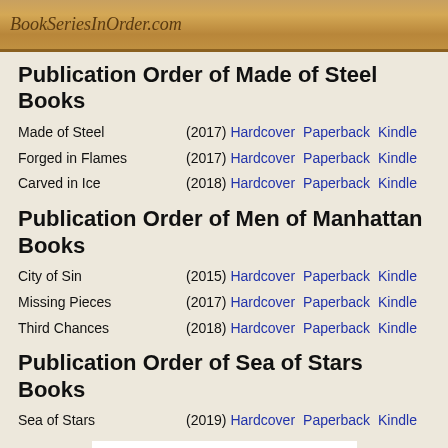BookSeriesInOrder.com
Publication Order of Made of Steel Books
Made of Steel (2017) Hardcover Paperback Kindle
Forged in Flames (2017) Hardcover Paperback Kindle
Carved in Ice (2018) Hardcover Paperback Kindle
Publication Order of Men of Manhattan Books
City of Sin (2015) Hardcover Paperback Kindle
Missing Pieces (2017) Hardcover Paperback Kindle
Third Chances (2018) Hardcover Paperback Kindle
Publication Order of Sea of Stars Books
Sea of Stars (2019) Hardcover Paperback Kindle